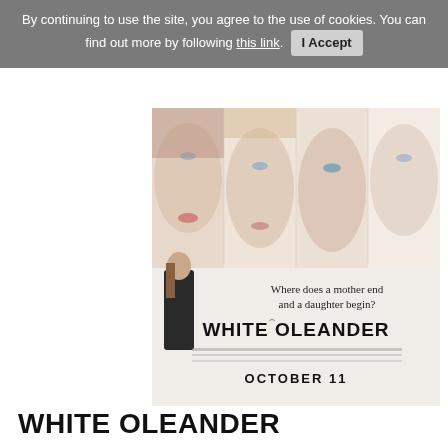By continuing to use the site, you agree to the use of cookies. You can find out more by following this link.  I Accept
[Figure (photo): Movie poster for White Oleander showing four women's faces close-up at the top, a lone figure in black coat at lower left, tagline 'Where does a mother end and a daughter begin?', large title 'WHITE OLEANDER', and release date 'OCTOBER 11']
WHITE OLEANDER